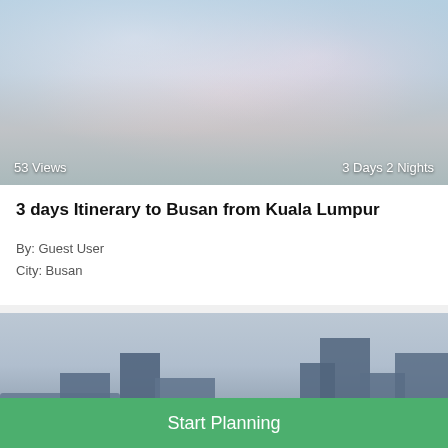[Figure (photo): Cherry blossom tree branches with pink flowers against a light blue sky. Bottom overlay shows '53 Views' on left and '3 Days 2 Nights' on right.]
3 days Itinerary to Busan from Kuala Lumpur
By: Guest User
City: Busan
[Figure (photo): City skyline of Busan with modern buildings including BEXCO convention center reflected in water, overcast sky.]
Start Planning